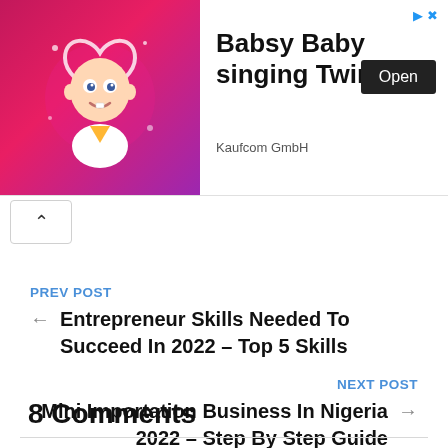[Figure (screenshot): Advertisement banner for 'Babsy Baby singing Twinkle' by Kaufcom GmbH with a cartoon baby image on pink background, an Open button, and ad icons]
PREV POST
Entrepreneur Skills Needed To Succeed In 2022 – Top 5 Skills
NEXT POST
Mini Importation Business In Nigeria 2022 – Step By Step Guide
8 Comments